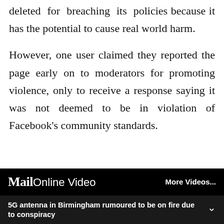deleted for breaching its policies because it has the potential to cause real world harm.
However, one user claimed they reported the page early on to moderators for promoting violence, only to receive a response saying it was not deemed to be in violation of Facebook's community standards.
[Figure (screenshot): MailOnline Video widget with 'More Videos...' button and caption '5G antenna in Birmingham rumoured to be on fire due to conspiracy' with a chevron/dropdown arrow]